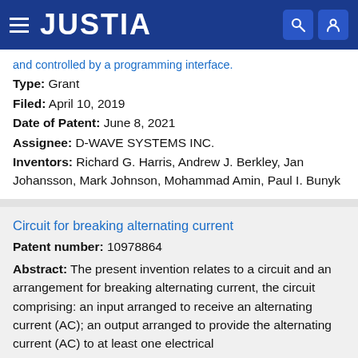JUSTIA
and controlled by a programming interface.
Type: Grant
Filed: April 10, 2019
Date of Patent: June 8, 2021
Assignee: D-WAVE SYSTEMS INC.
Inventors: Richard G. Harris, Andrew J. Berkley, Jan Johansson, Mark Johnson, Mohammad Amin, Paul I. Bunyk
Circuit for breaking alternating current
Patent number: 10978864
Abstract: The present invention relates to a circuit and an arrangement for breaking alternating current, the circuit comprising: an input arranged to receive an alternating current (AC); an output arranged to provide the alternating current (AC) to at least one electrical